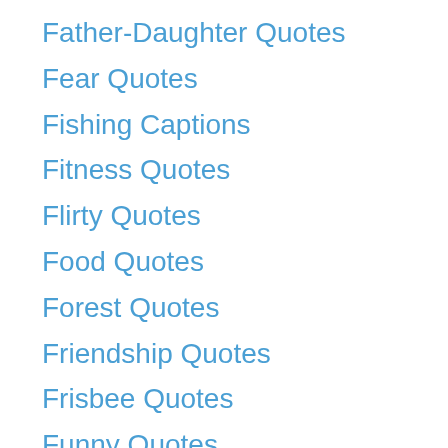Father-Daughter Quotes
Fear Quotes
Fishing Captions
Fitness Quotes
Flirty Quotes
Food Quotes
Forest Quotes
Friendship Quotes
Frisbee Quotes
Funny Quotes
GM Quotes
God Will Make A Way Quotes
GOOD NIGHT QUOTES
Gym Quotes
Hair Styling